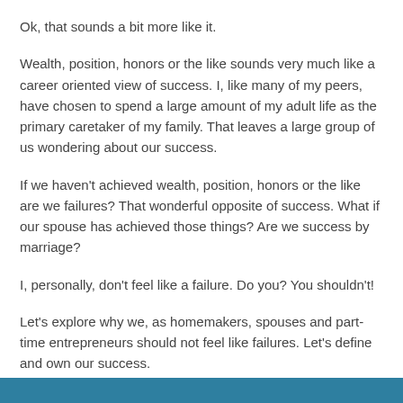Ok, that sounds a bit more like it.
Wealth, position, honors or the like sounds very much like a career oriented view of success. I, like many of my peers, have chosen to spend a large amount of my adult life as the primary caretaker of my family. That leaves a large group of us wondering about our success.
If we haven't achieved wealth, position, honors or the like are we failures? That wonderful opposite of success. What if our spouse has achieved those things? Are we success by marriage?
I, personally, don't feel like a failure. Do you? You shouldn't!
Let's explore why we, as homemakers, spouses and part-time entrepreneurs should not feel like failures. Let's define and own our success.
[Figure (other): Teal/blue decorative bar at the bottom of the page]